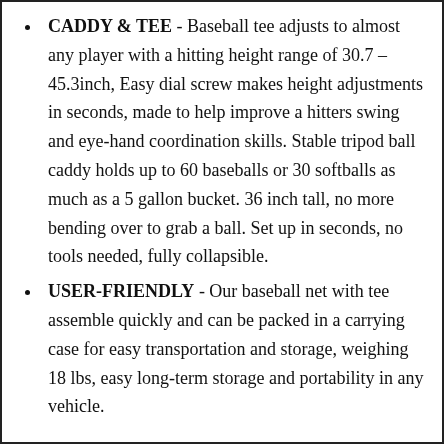CADDY & TEE - Baseball tee adjusts to almost any player with a hitting height range of 30.7 – 45.3inch, Easy dial screw makes height adjustments in seconds, made to help improve a hitters swing and eye-hand coordination skills. Stable tripod ball caddy holds up to 60 baseballs or 30 softballs as much as a 5 gallon bucket. 36 inch tall, no more bending over to grab a ball. Set up in seconds, no tools needed, fully collapsible.
USER-FRIENDLY - Our baseball net with tee assemble quickly and can be packed in a carrying case for easy transportation and storage, weighing 18 lbs, easy long-term storage and portability in any vehicle.